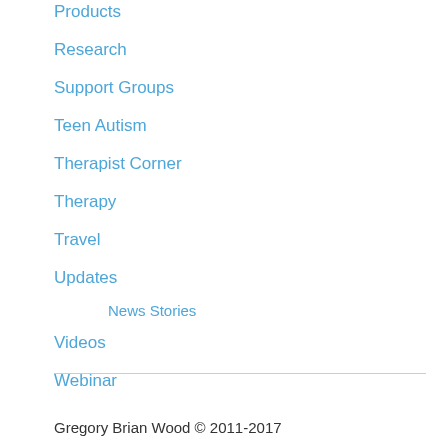Products
Research
Support Groups
Teen Autism
Therapist Corner
Therapy
Travel
Updates
News Stories
Videos
Webinar
Gregory Brian Wood © 2011-2017